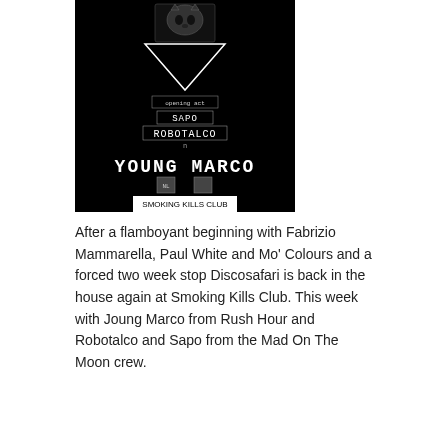[Figure (illustration): Black event poster for 'Young Marco' at Smoking Kills Club. Shows stylized cat/fox skull above a downward triangle, text listing opening act Sapo, Robotalco, and headliner Young Marco (NL). Venue: Smoking Kills Club, via bonnet 11. Logos for MadOnTheMoon and discosafari.com at bottom.]
After a flamboyant beginning with Fabrizio Mammarella, Paul White and Mo' Colours and a forced two week stop Discosafari is back in the house again at Smoking Kills Club. This week with Joung Marco from Rush Hour and Robotalco and Sapo from the Mad On The Moon crew.